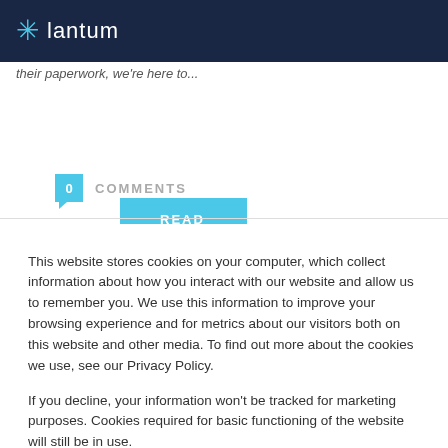lantum
their paperwork, we're here to...
READ MORE
0  COMMENTS
This website stores cookies on your computer, which collect information about how you interact with our website and allow us to remember you. We use this information to improve your browsing experience and for metrics about our visitors both on this website and other media. To find out more about the cookies we use, see our Privacy Policy.
If you decline, your information won't be tracked for marketing purposes. Cookies required for basic functioning of the website will still be in use.
Accept
Decline